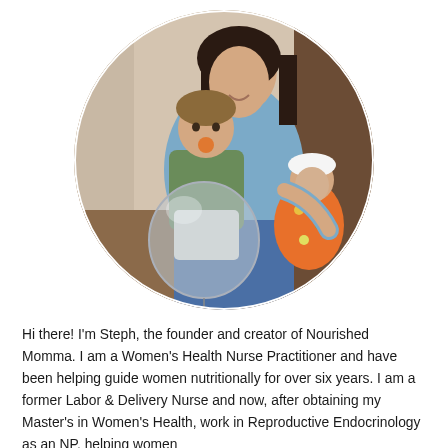[Figure (photo): Circular cropped photo of a woman with dark hair smiling, holding a newborn baby in a floral outfit, with a young toddler boy in a green shirt holding a large clear balloon, seated indoors on stairs.]
Hi there! I'm Steph, the founder and creator of Nourished Momma. I am a Women's Health Nurse Practitioner and have been helping guide women nutritionally for over six years. I am a former Labor & Delivery Nurse and now, after obtaining my Master's in Women's Health, work in Reproductive Endocrinology as an NP, helping women